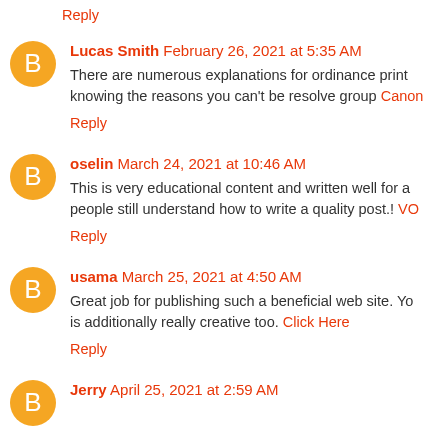Reply
Lucas Smith February 26, 2021 at 5:35 AM
There are numerous explanations for ordinance print knowing the reasons you can't be resolve group Canon
Reply
oselin March 24, 2021 at 10:46 AM
This is very educational content and written well for a people still understand how to write a quality post.! VO
Reply
usama March 25, 2021 at 4:50 AM
Great job for publishing such a beneficial web site. Yo is additionally really creative too. Click Here
Reply
Jerry April 25, 2021 at 2:59 AM